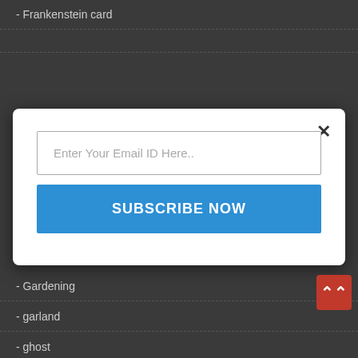- Frankenstein card
[Figure (screenshot): A modal popup dialog with a white background, a close (×) button in the top right, an email input field with placeholder text 'Enter Your Email ID Here..', and a blue 'SUBSCRIBE NOW' button below it.]
- Gardening
- garland
- ghost